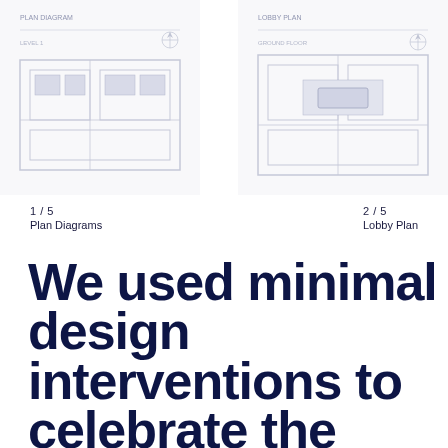[Figure (illustration): Faded/watermarked architectural plan diagram on the left side, showing building floor plan lines in light gray/dark blue tones]
[Figure (illustration): Faded/watermarked architectural lobby plan diagram on the right side, showing building floor plan lines in light gray/dark blue tones]
1 / 5
Plan Diagrams
2 / 5
Lobby Plan
We used minimal design interventions to celebrate the existing building's character and bring it back